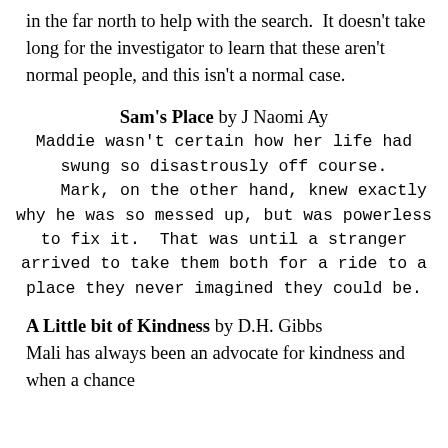in the far north to help with the search.  It doesn't take long for the investigator to learn that these aren't normal people, and this isn't a normal case.
Sam's Place by J Naomi Ay
Maddie wasn't certain how her life had swung so disastrously off course.
    Mark, on the other hand, knew exactly why he was so messed up, but was powerless to fix it.  That was until a stranger arrived to take them both for a ride to a place they never imagined they could be.
A Little bit of Kindness by D.H. Gibbs
Mali has always been an advocate for kindness and when a chance